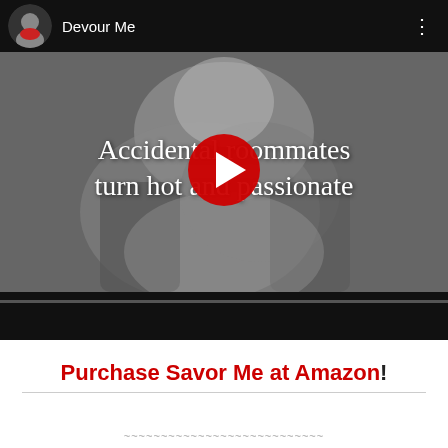[Figure (screenshot): YouTube-style video thumbnail showing a black and white image of an intimate couple with text overlay reading 'Accidental roommates turn hot and passionate' and a red play button in the center. Channel header shows 'Devour Me' with an avatar of a woman.]
Purchase Savor Me at Amazon!
~~~~~~~~~~~~~~~~~~~~~~~~~~~